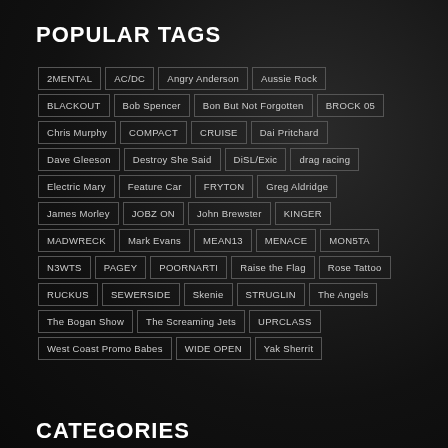POPULAR TAGS
2MENTAL
AC/DC
Angry Anderson
Aussie Rock
BLACKOUT
Bob Spencer
Bon But Not Forgotten
BROCK 05
Chris Murphy
COMPACT
CRUISE
Dai Pritchard
Dave Gleeson
Destroy She Said
DiSL/Exic
drag racing
Electric Mary
Feature Car
FRYTON
Greg Aldridge
James Morley
JOBZ ON
John Brewster
KINGER
MADWRECK
Mark Evans
MEAN13
MENACE
MON5TA
N3WTS
PAGEY
POORNARTI
Raise the Flag
Rose Tattoo
RUCKUS
SEWERSIDE
Skenie
STRUGLIN
The Angels
The Bogan Show
The Screaming Jets
UPRCLASS
West Coast Promo Babes
WIDE OPEN
Yak Sherrit
CATEGORIES